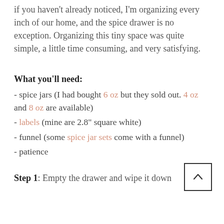if you haven't already noticed, I'm organizing every inch of our home, and the spice drawer is no exception. Organizing this tiny space was quite simple, a little time consuming, and very satisfying.
What you'll need:
- spice jars (I had bought 6 oz but they sold out. 4 oz and 8 oz are available)
- labels (mine are 2.8" square white)
- funnel (some spice jar sets come with a funnel)
- patience
Step 1: Empty the drawer and wipe it down